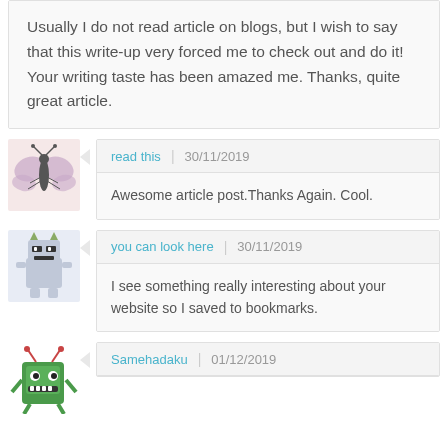Usually I do not read article on blogs, but I wish to say that this write-up very forced me to check out and do it! Your writing taste has been amazed me. Thanks, quite great article.
read this | 30/11/2019
Awesome article post.Thanks Again. Cool.
you can look here | 30/11/2019
I see something really interesting about your website so I saved to bookmarks.
Samehadaku | 01/12/2019